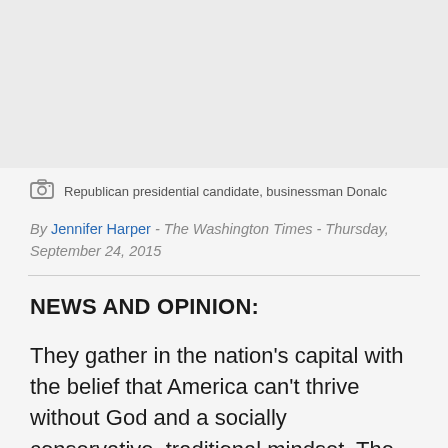[Figure (photo): Image placeholder area at top of article, light gray background]
Republican presidential candidate, businessman Donald…
By Jennifer Harper - The Washington Times - Thursday, September 24, 2015
NEWS AND OPINION:
They gather in the nation's capital with the belief that America can't thrive without God and a socially conservative, traditional mindset. The 10th annual Values Voters Summit gets underway Friday, boasting eight